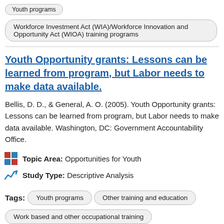Youth programs
Workforce Investment Act (WIA)/Workforce Innovation and Opportunity Act (WIOA) training programs
Youth Opportunity grants: Lessons can be learned from program, but Labor needs to make data available.
Bellis, D. D., & General, A. O. (2005). Youth Opportunity grants: Lessons can be learned from program, but Labor needs to make data available. Washington, DC: Government Accountability Office.
Topic Area: Opportunities for Youth
Study Type: Descriptive Analysis
Tags: Youth programs | Other training and education
Work based and other occupational training